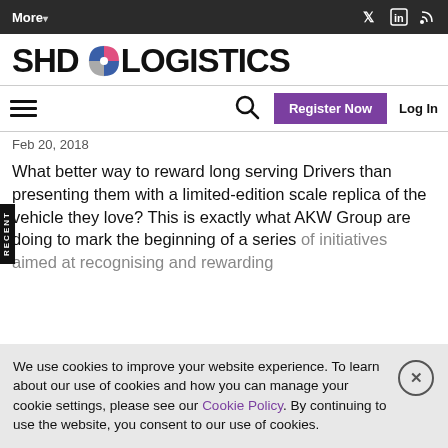More▾ | Twitter | LinkedIn | RSS
[Figure (logo): SHD Logistics logo with colored circular icon between 'SHD' and 'LOGISTICS' text]
☰ 🔍 Register Now  Log In
Feb 20, 2018
What better way to reward long serving Drivers than presenting them with a limited-edition scale replica of the vehicle they love? This is exactly what AKW Group are doing to mark the beginning of a series of initiatives aimed at recognising and rewarding
We use cookies to improve your website experience. To learn about our use of cookies and how you can manage your cookie settings, please see our Cookie Policy. By continuing to use the website, you consent to our use of cookies.